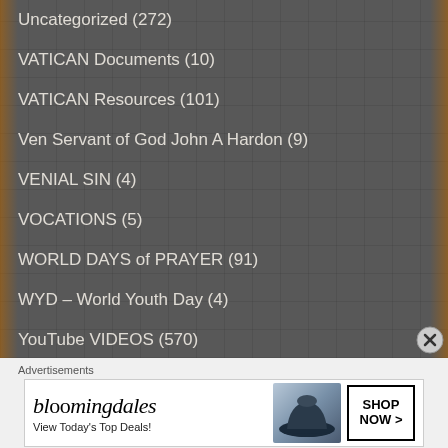Uncategorized (272)
VATICAN Documents (10)
VATICAN Resources (101)
Ven Servant of God John A Hardon (9)
VENIAL SIN (4)
VOCATIONS (5)
WORLD DAYS of PRAYER (91)
WYD – World Youth Day (4)
YouTube VIDEOS (570)
[ATRONAGE – FIRST COMMUNICANTS (1)
Advertisements
[Figure (other): Bloomingdales advertisement banner with hat image and 'SHOP NOW >' button. Text: bloomingdales, View Today's Top Deals!]